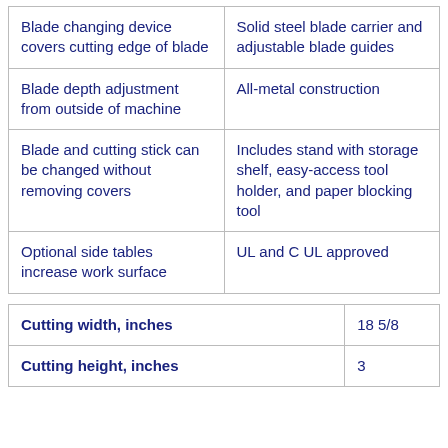| Blade changing device covers cutting edge of blade | Solid steel blade carrier and adjustable blade guides |
| Blade depth adjustment from outside of machine | All-metal construction |
| Blade and cutting stick can be changed without removing covers | Includes stand with storage shelf, easy-access tool holder, and paper blocking tool |
| Optional side tables increase work surface | UL and C UL approved |
| Cutting width, inches | 18 5/8 |
| Cutting height, inches | 3 |